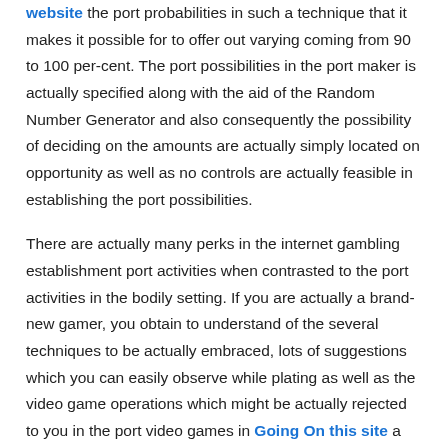website the port probabilities in such a technique that it makes it possible for to offer out varying coming from 90 to 100 per-cent. The port possibilities in the port maker is actually specified along with the aid of the Random Number Generator and also consequently the possibility of deciding on the amounts are actually simply located on opportunity as well as no controls are actually feasible in establishing the port possibilities.

There are actually many perks in the internet gambling establishment port activities when contrasted to the port activities in the bodily setting. If you are actually a brand-new gamer, you obtain to understand of the several techniques to be actually embraced, lots of suggestions which you can easily observe while plating as well as the video game operations which might be actually rejected to you in the port video games in Going On this site a property located online casino. You can easily possess accessibility to an amount of on the web gambling establishment port internet sites and also choose the video game you really want